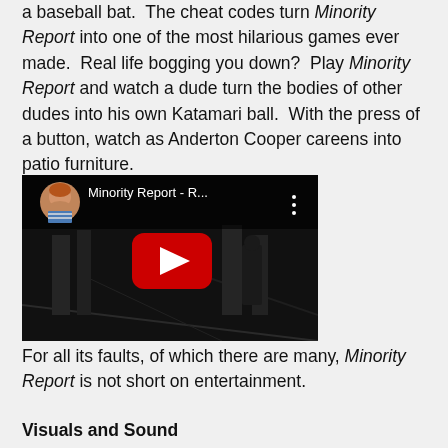a baseball bat.  The cheat codes turn Minority Report into one of the most hilarious games ever made.  Real life bogging you down?  Play Minority Report and watch a dude turn the bodies of other dudes into his own Katamari ball.  With the press of a button, watch as Anderton Cooper careens into patio furniture.
[Figure (screenshot): YouTube video embed thumbnail showing a dark scene from Minority Report game with title 'Minority Report - R...' and a YouTube play button overlay. A user avatar (person with red hair) is visible in the top left corner.]
For all its faults, of which there are many, Minority Report is not short on entertainment.
Visuals and Sound